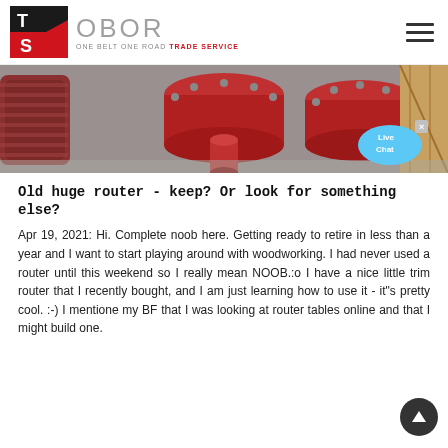[Figure (logo): OBOR Trade Service logo with TS icon in red and black, and text OBOR ONE BELT ONE ROAD TRADE SERVICE]
[Figure (photo): Hero image showing red industrial pipe fittings/couplings on a concrete floor, with a Live Chat bubble in the bottom right corner]
Old huge router - keep? Or look for something else?
Apr 19, 2021: Hi. Complete noob here. Getting ready to retire in less than a year and I want to start playing around with woodworking. I had never used a router until this weekend so I really mean NOOB.:o I have a nice little trim router that I recently bought, and I am just learning how to use it - it"s pretty cool. :-) I mentioned my BF that I was looking at router tables online and that I might build one.